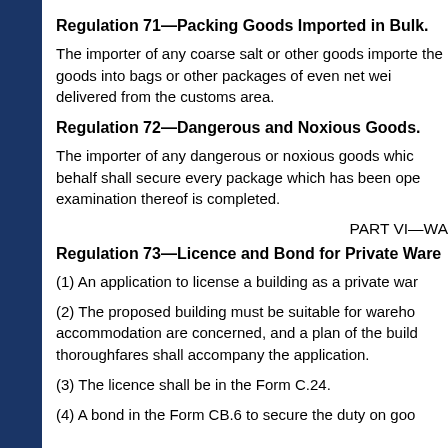Regulation 71—Packing Goods Imported in Bulk.
The importer of any coarse salt or other goods imported in bulk shall, before the goods are delivered from the customs area, pack the goods into bags or other packages of even net weight before they are delivered from the customs area.
Regulation 72—Dangerous and Noxious Goods.
The importer of any dangerous or noxious goods which have been opened or his agent on his behalf shall secure every package which has been opened for examination before the examination thereof is completed.
PART VI—WA
Regulation 73—Licence and Bond for Private Ware
(1) An application to license a building as a private war
(2) The proposed building must be suitable for wareho accommodation are concerned, and a plan of the build thoroughfares shall accompany the application.
(3) The licence shall be in the Form C.24.
(4) A bond in the Form CB.6 to secure the duty on goo